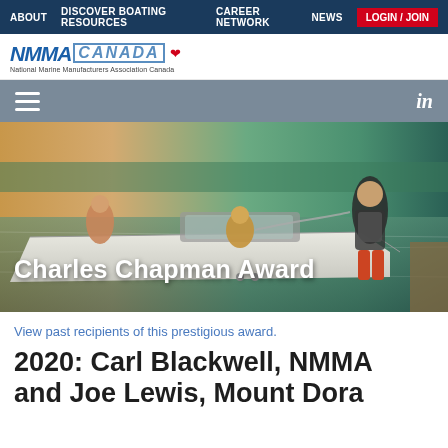ABOUT  DISCOVER BOATING RESOURCES  CAREER NETWORK  NEWS  LOGIN / JOIN
[Figure (logo): NMMA Canada logo — National Marine Manufacturers Association Canada with maple leaf]
[Figure (photo): Hero photo of people on a motorboat on a lake, with overlay text 'Charles Chapman Award']
Charles Chapman Award
View past recipients of this prestigious award.
2020: Carl Blackwell, NMMA and Joe Lewis, Mount Dora